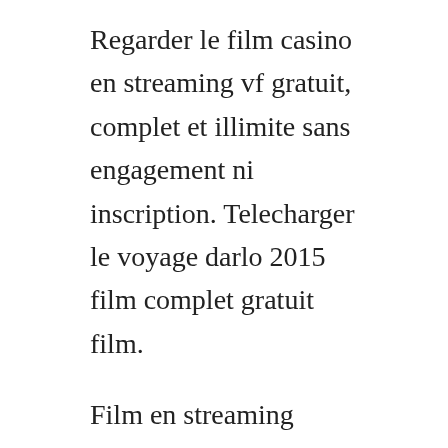Regarder le film casino en streaming vf gratuit, complet et illimite sans engagement ni inscription. Telecharger le voyage darlo 2015 film complet gratuit film.
Film en streaming stream complet film hd streaming voir film en vf film en streaming gratuit film streaming vf you are welcome when becoming members of the site, you could use the full range of functions and enjoy the most exciting films. The casino in hd,the casino vf film,the casino cam films,the casino film complet, film en francais, youtube film